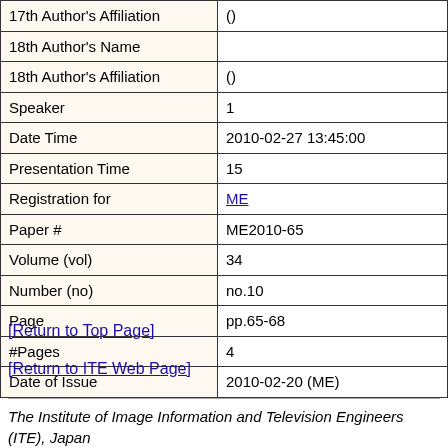| 17th Author's Affiliation | () |
| 18th Author's Name |  |
| 18th Author's Affiliation | () |
| Speaker | 1 |
| Date Time | 2010-02-27 13:45:00 |
| Presentation Time | 15 |
| Registration for | ME |
| Paper # | ME2010-65 |
| Volume (vol) | 34 |
| Number (no) | no.10 |
| Page | pp.65-68 |
| #Pages | 4 |
| Date of Issue | 2010-02-20 (ME) |
[Return to Top Page]
[Return to ITE Web Page]
The Institute of Image Information and Television Engineers (ITE), Japan